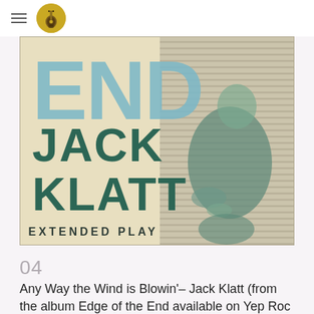[Figure (illustration): Album cover for Jack Klatt 'Edge of the End Extended Play'. Features large text 'END' in light blue at the top, 'JACK KLATT' in bold dark teal lettering in the middle, and 'EXTENDED PLAY' in small caps at the bottom. A sepia-toned figure of a man sits to the right side. Background has diagonal stripes on the right.]
04
Any Way the Wind is Blowin'– Jack Klatt (from the album Edge of the End available on Yep Roc Records)